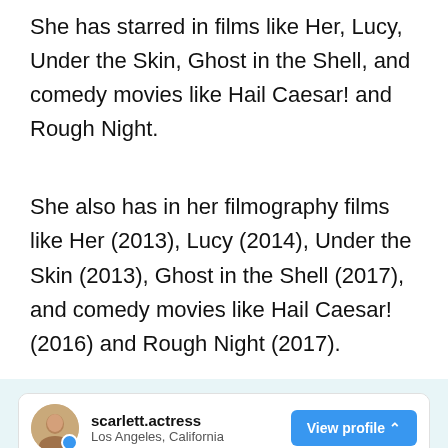She has starred in films like Her, Lucy, Under the Skin, Ghost in the Shell, and comedy movies like Hail Caesar! and Rough Night.
She also has in her filmography films like Her (2013), Lucy (2014), Under the Skin (2013), Ghost in the Shell (2017), and comedy movies like Hail Caesar! (2016) and Rough Night (2017).
[Figure (screenshot): Instagram profile card for scarlett.actress, Los Angeles, California, with a View profile button and a partial photo below.]